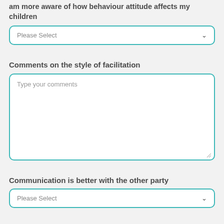am more aware of how behaviour attitude affects my children
Please Select
Comments on the style of facilitation
Type your comments
Communication is better with the other party
Please Select
Did any of the following features of the services help